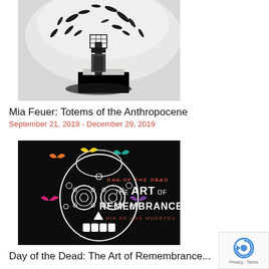[Figure (photo): Black and white photo of a sculptural installation — a dark organic tree-like form with scattered leaf/bird shapes exploding outward from a central wire cage structure, displayed in a white gallery rotunda.]
Mia Feuer: Totems of the Anthropocene
September 21, 2019 - December 29, 2019
[Figure (photo): Promotional poster for 'Day of the Dead: The Art of Remembrance / Dia de los Muertos' — a decorative sugar skull in white on black background, adorned with flowers and butterflies in orange, yellow, pink, teal, and purple.]
Day of the Dead: The Art of Remembrance...